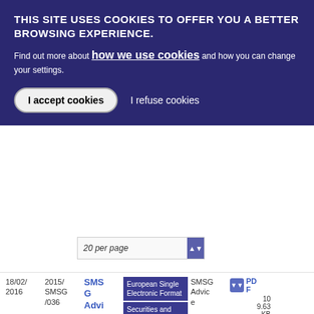THIS SITE USES COOKIES TO OFFER YOU A BETTER BROWSING EXPERIENCE.
Find out more about how we use cookies and how you can change your settings.
I accept cookies  |  I refuse cookies
20 per page
| Date | Reference | Title | Tags | Type | Download |
| --- | --- | --- | --- | --- | --- |
| 18/02/2016 | 2015/SMSG/036 | SMSG Advice on ESEF | European Single Electronic Format | Securities and Markets Stakeholder Group | SMSG Advice | PDF 10 9.63 KB |
| 30/09/2016 | 2016/1420 | Financial... | Innovation and Products | peec | PDF |